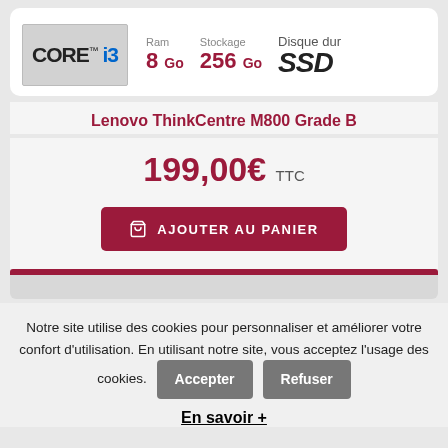CORE i3 | Ram 8 Go | Stockage 256 Go | Disque dur SSD
Lenovo ThinkCentre M800 Grade B
199,00€ TTC
AJOUTER AU PANIER
Notre site utilise des cookies pour personnaliser et améliorer votre confort d'utilisation. En utilisant notre site, vous acceptez l'usage des cookies.
Accepter
Refuser
En savoir +